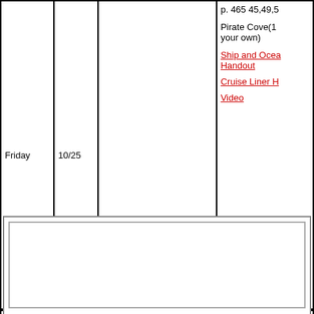| Day | Date | Classwork/Activity | Homework |
| --- | --- | --- | --- |
| Friday | 10/25 |  | p. 465 45,49,5
Pirate Cove(1 your own)
Ship and Ocea Handout
Cruise Liner H
Video |
|  |  | Warm-up: Chapter 6 as Handout |  |
| Day |  |  |  |